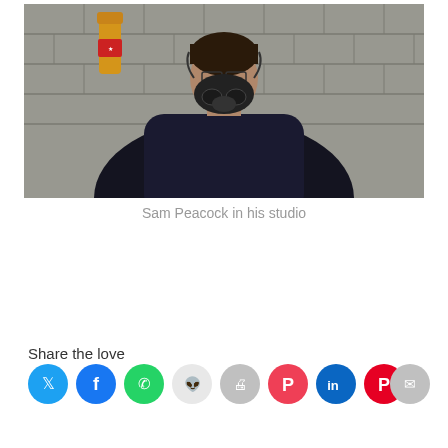[Figure (photo): A man wearing a respirator/gas mask and dark navy sweater standing in a studio with concrete block walls. A yellow item hangs on the wall to the left.]
Sam Peacock in his studio
Share the love
[Figure (infographic): Row of social media share buttons: Twitter (blue), Facebook (blue), WhatsApp (green), Reddit (light grey), Print (grey), Pocket (red), LinkedIn (blue), Pinterest (red), Email (grey)]